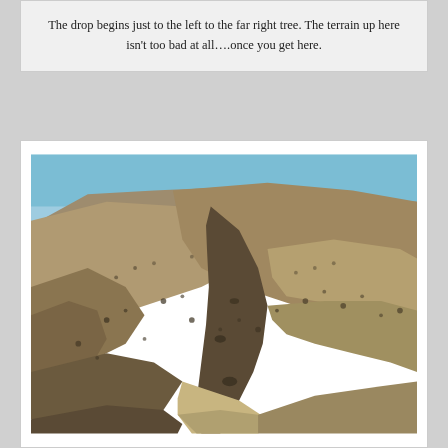The drop begins just to the left to the far right tree. The terrain up here isn't too bad at all….once you get here.
[Figure (photo): Photograph of rugged desert mountain terrain with a dry gully/canyon cutting through brown rocky hillsides under a clear blue sky.]